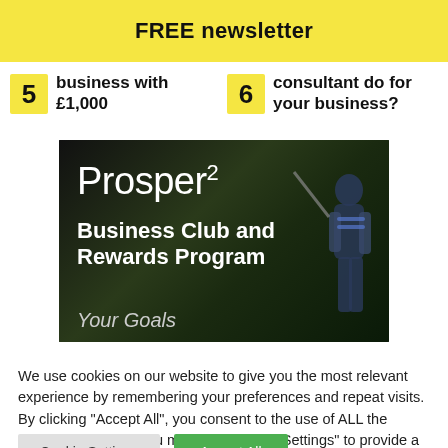FREE newsletter
business with £1,000
consultant do for your business?
[Figure (photo): Prosper² Business Club and Rewards Program advertisement with golfer silhouette on dark background, text reads 'Prosper² Business Club and Rewards Program Your Goals']
We use cookies on our website to give you the most relevant experience by remembering your preferences and repeat visits. By clicking "Accept All", you consent to the use of ALL the cookies. However, you may visit "Cookie Settings" to provide a controlled consent.